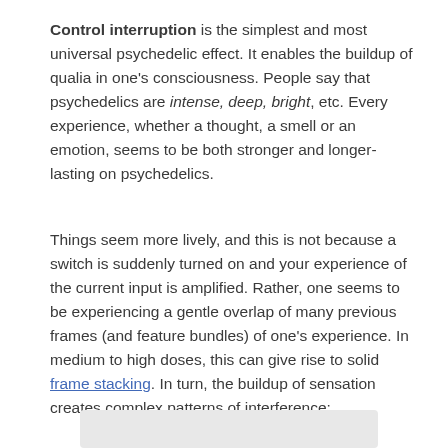Control interruption is the simplest and most universal psychedelic effect. It enables the buildup of qualia in one's consciousness. People say that psychedelics are intense, deep, bright, etc. Every experience, whether a thought, a smell or an emotion, seems to be both stronger and longer-lasting on psychedelics.
Things seem more lively, and this is not because a switch is suddenly turned on and your experience of the current input is amplified. Rather, one seems to be experiencing a gentle overlap of many previous frames (and feature bundles) of one's experience. In medium to high doses, this can give rise to solid frame stacking. In turn, the buildup of sensation creates complex patterns of interference:
[Figure (other): Gray rectangular box at bottom of page, partially visible]